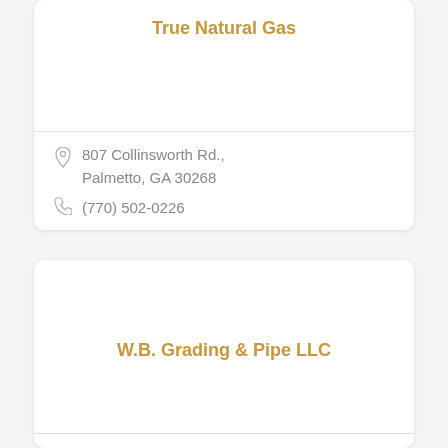True Natural Gas
807 Collinsworth Rd., Palmetto, GA 30268
(770) 502-0226
W.B. Grading & Pipe LLC